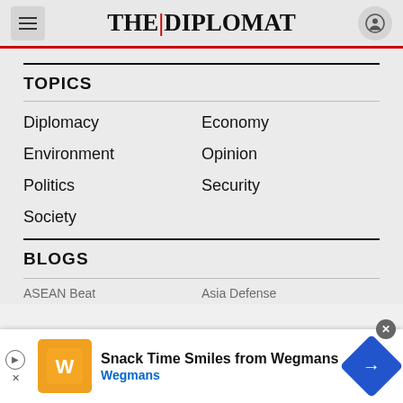THE DIPLOMAT
TOPICS
Diplomacy
Economy
Environment
Opinion
Politics
Security
Society
BLOGS
[Figure (screenshot): Advertisement banner: Snack Time Smiles from Wegmans, with Wegmans logo and navigation arrow icon]